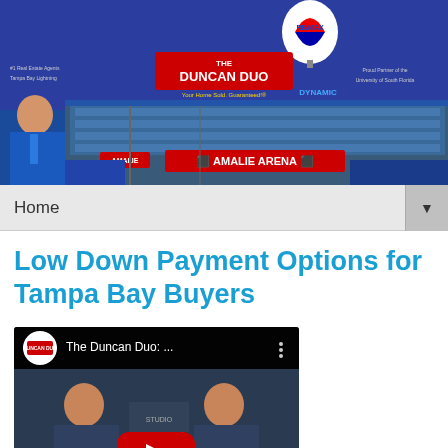[Figure (photo): Duncan Duo RE/MAX website header banner with blue background, RE/MAX hot air balloon logo, Duncan Duo branding, and Amalie Arena photo strip with man in blue shirt on left]
Home ▼
Low Down Payment Options for Tampa Bay Buyers
[Figure (screenshot): YouTube video embed thumbnail showing 'The Duncan Duo: ...' with channel icon, two people seated at a table, and a red play button overlay]